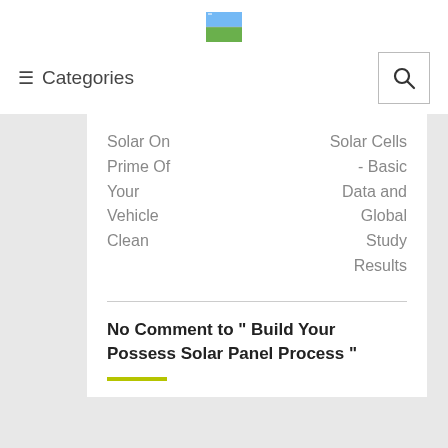[Figure (logo): Small landscape/solar logo image]
≡ Categories
Solar On Prime Of Your Vehicle Clean
Solar Cells - Basic Data and Global Study Results
No Comment to " Build Your Possess Solar Panel Process "